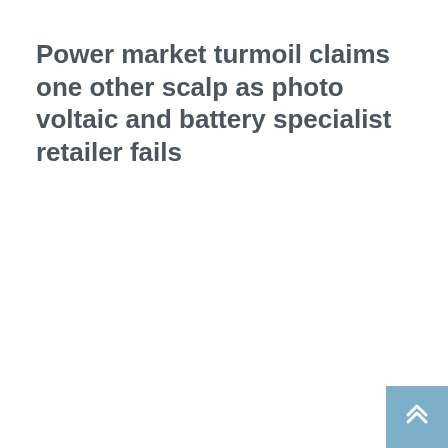Power market turmoil claims one other scalp as photo voltaic and battery specialist retailer fails